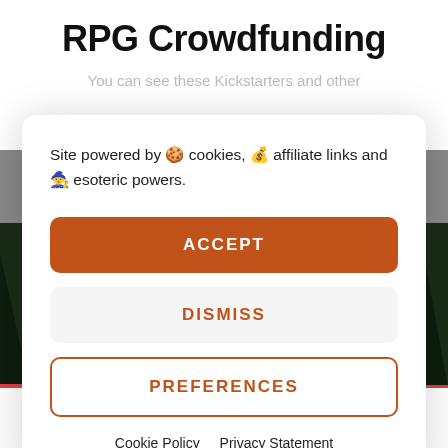RPG Crowdfunding
You can see these Kickstarters and other
Site powered by 🍪 cookies, 💰 affiliate links and 🧙 esoteric powers.
ACCEPT
DISMISS
PREFERENCES
Cookie Policy   Privacy Statement
[Figure (photo): Dark forest background image with a figure in white]
Social share icons: Facebook, Twitter, Pinterest, and navigation arrows